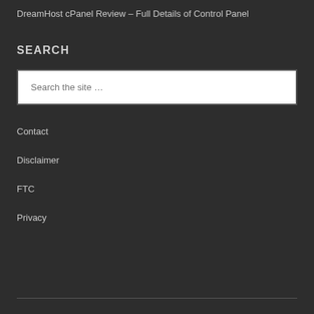DreamHost cPanel Review – Full Details of Control Panel
SEARCH
Search the site …
Contact
Disclaimer
FTC
Privacy